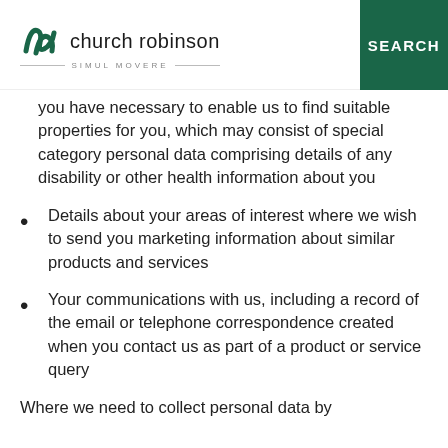church robinson SIMUL MOVERE | MENU | SEARCH
you have necessary to enable us to find suitable properties for you, which may consist of special category personal data comprising details of any disability or other health information about you
Details about your areas of interest where we wish to send you marketing information about similar products and services
Your communications with us, including a record of the email or telephone correspondence created when you contact us as part of a product or service query
Where we need to collect personal data by